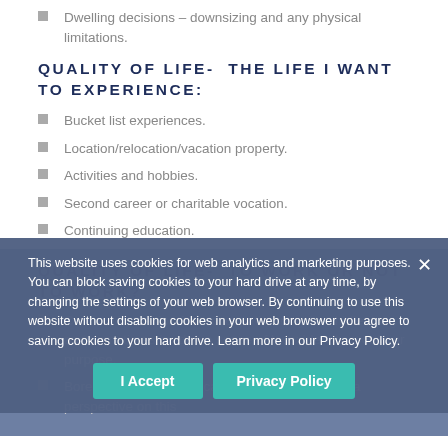Dwelling decisions – downsizing and any physical limitations.
QUALITY OF LIFE- THE LIFE I WANT TO EXPERIENCE:
Bucket list experiences.
Location/relocation/vacation property.
Activities and hobbies.
Second career or charitable vocation.
Continuing education.
QUALITY OF LIFE- TO WORK OR NOT TO WORK?
Caution: Transition from occupation may be challenging and sometimes burden a sense of loss: identity, worth, or purpose.
Boredom – Retirement can be helpful in gaining a perspective on this
This website uses cookies for web analytics and marketing purposes. You can block saving cookies to your hard drive at any time, by changing the settings of your web browser. By continuing to use this website without disabling cookies in your web browswer you agree to saving cookies to your hard drive. Learn more in our Privacy Policy.